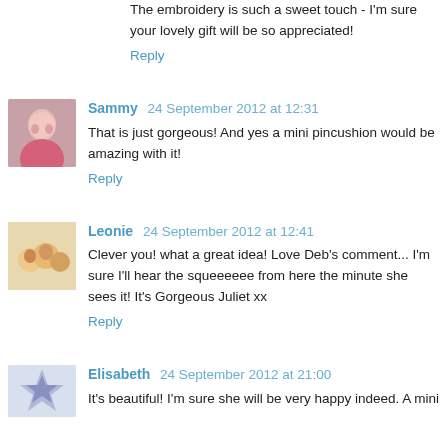The embroidery is such a sweet touch - I'm sure your lovely gift will be so appreciated!
Reply
Sammy 24 September 2012 at 12:31
That is just gorgeous! And yes a mini pincushion would be amazing with it!
Reply
Leonie 24 September 2012 at 12:41
Clever you! what a great idea! Love Deb's comment... I'm sure I'll hear the squeeeeee from here the minute she sees it! It's Gorgeous Juliet xx
Reply
Elisabeth 24 September 2012 at 21:00
It's beautiful! I'm sure she will be very happy indeed. A mini